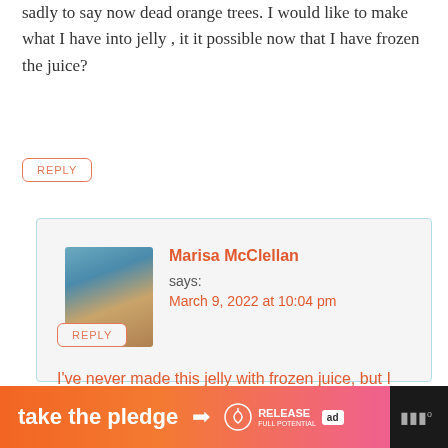sadly to say now dead orange trees. I would like to make what I have into jelly , it it possible now that I have frozen the juice?
REPLY
Marisa McClellan says: March 9, 2022 at 10:04 pm
I've never made this jelly with frozen juice, but I don't see why it wouldn't work.
REPLY
[Figure (photo): Profile photo of Marisa McClellan, a woman with blonde hair wearing a blue cardigan, standing in front of a background with jars.]
[Figure (infographic): Advertisement banner with orange to pink gradient reading 'take the pledge' with an arrow, Release logo, ad icon, and WM logo on dark background.]